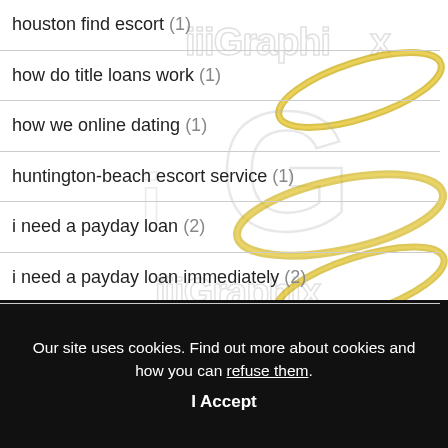houston find escort (1)
how do title loans work (1)
how we online dating (1)
huntington-beach escort service (1)
i need a payday loan (2)
i need a payday loan immediately (2)
[Figure (logo): iiiGraphix watermark logo in gold and silver, repeated/overlapping across the content area]
Our site uses cookies. Find out more about cookies and how you can refuse them.
I Accept